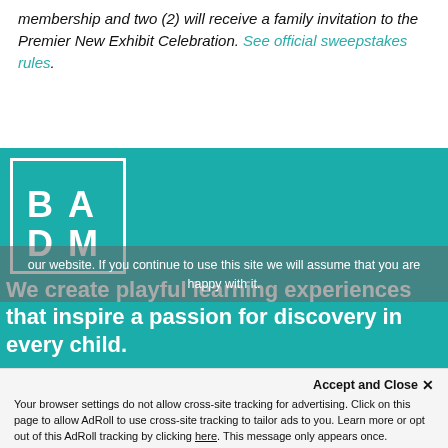membership and two (2) will receive a family invitation to the Premier New Exhibit Celebration. See official sweepstakes rules.
[Figure (logo): Bay Area Discovery Museum logo in white on teal background — stylized letters B, A, D, M in a square border]
We create playful learning experiences that inspire a passion for discovery in every child.
our website. If you continue to use this site we will assume that you are happy with it.
Accept and Close ✕
Your browser settings do not allow cross-site tracking for advertising. Click on this page to allow AdRoll to use cross-site tracking to tailor ads to you. Learn more or opt out of this AdRoll tracking by clicking here. This message only appears once.